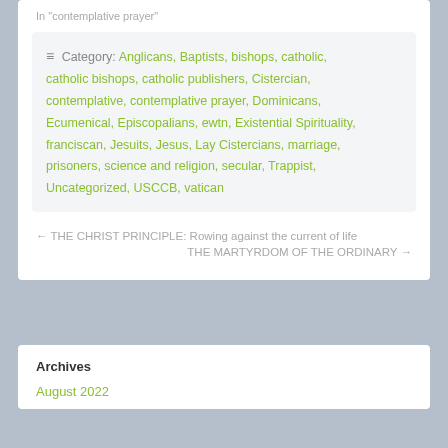In "contemplative prayer"
Category: Anglicans, Baptists, bishops, catholic, catholic bishops, catholic publishers, Cistercian, contemplative, contemplative prayer, Dominicans, Ecumenical, Episcopalians, ewtn, Existential Spirituality, franciscan, Jesuits, Jesus, Lay Cistercians, marriage, prisoners, science and religion, secular, Trappist, Uncategorized, USCCB, vatican
← THE CHRIST PRINCIPLE: Rowing against the current of life
THE MARTYRDOM OF THE ORDINARY →
Archives
August 2022